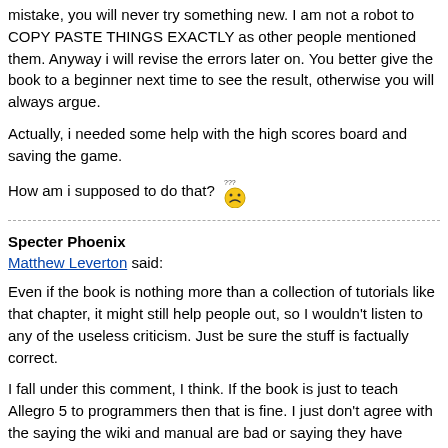mistake, you will never try something new. I am not a robot to COPY PASTE THINGS EXACTLY as other people mentioned them. Anyway i will revise the errors later on. You better give the book to a beginner next time to see the result, otherwise you will always argue.
Actually, i needed some help with the high scores board and saving the game.
How am i supposed to do that? 😕
---
Specter Phoenix
Matthew Leverton said:
Even if the book is nothing more than a collection of tutorials like that chapter, it might still help people out, so I wouldn't listen to any of the useless criticism. Just be sure the stuff is factually correct.
I fall under this comment, I think. If the book is just to teach Allegro 5 to programmers then that is fine. I just don't agree with the saying the wiki and manual are bad or saying they have grammar errors just because they don't make sense to him. A book of tutorials for doing things in A5 would be nice.
Now, let me re-iterate a previous comment. You cannot get a person into programming with just teaching them A5. You book would have to be written so that the first few chapters would cover a language you are using (C, C++, C#, D, etc.) and the basics of that language. Following chapters could cover setup, installation, and first test example to show A5 is properly installed and working. Then after that you would have to